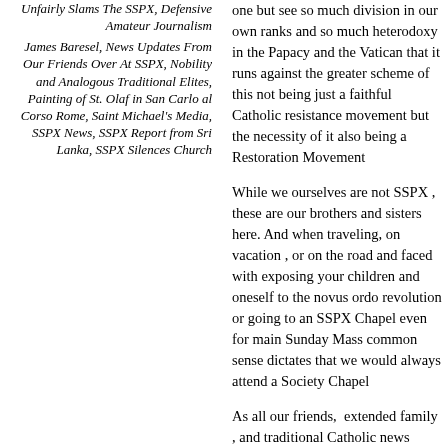Unfairly Slams The SSPX, Defensive Amateur Journalism
James Baresel, News Updates From Our Friends Over At SSPX, Nobility and Analogous Traditional Elites, Painting of St. Olaf in San Carlo al Corso Rome, Saint Michael's Media, SSPX News, SSPX Report from Sri Lanka, SSPX Silences Church
one but see so much division in our own ranks and so much heterodoxy in the Papacy and the Vatican that it runs against the greater scheme of this not being just a faithful Catholic resistance movement but the necessity of it also being a Restoration Movement
While we ourselves are not SSPX , these are our brothers and sisters here. And when traveling, on vacation , or on the road and faced with exposing your children and oneself to the novus ordo revolution or going to an SSPX Chapel even for main Sunday Mass common sense dictates that we would always attend a Society Chapel
As all our friends, extended family , and traditional Catholic news followers know – We've lauded the work of CMTV in the past -attended several events of theirs in the past and linked their articles on an almost weekly basis on key subjects , not just the pro-life movement but even when they graciously self